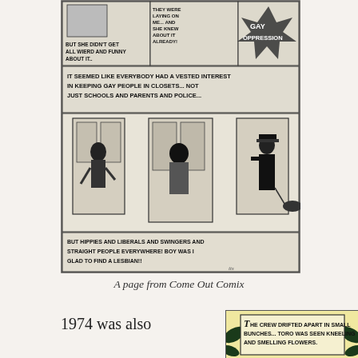[Figure (illustration): A black and white comic strip page from Come Out Comix. Upper portion shows panels with text about gay oppression and people kept in closets, with illustrated characters including someone at a door and a police officer. Lower panel text reads 'BUT HIPPIES AND LIBERALS AND SWINGERS AND STRAIGHT PEOPLE EVERYWHERE! BOY WAS I GLAD TO FIND A LESBIAN!!']
A page from Come Out Comix
1974 was also the year that Steve
[Figure (illustration): A black and white comic panel with yellow/cream background showing text: 'THE CREW DRIFTED APART IN SMALL BUNCHES... TORO WAS SEEN KNEELING AND SMELLING FLOWERS.' with tropical foliage illustrated around the text box.]